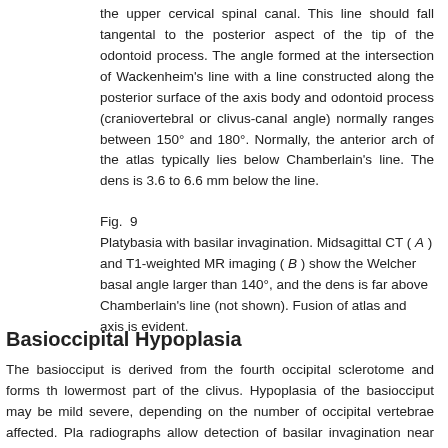the upper cervical spinal canal. This line should fall tangental to the posterior aspect of the tip of the odontoid process. The angle formed at the intersection of Wackenheim's line with a line constructed along the posterior surface of the axis body and odontoid process (craniovertebral or clivus-canal angle) normally ranges between 150° and 180°. Normally, the anterior arch of the atlas typically lies below Chamberlain's line. The dens is 3.6 to 6.6 mm below the line.
Fig.  9
Platybasia with basilar invagination. Midsagittal CT ( A ) and T1-weighted MR imaging ( B ) show the Welcher basal angle larger than 140°, and the dens is far above Chamberlain's line (not shown). Fusion of atlas and axis is evident.
Basioccipital Hypoplasia
The basiocciput is derived from the fourth occipital sclerotome and forms th lowermost part of the clivus. Hypoplasia of the basiocciput may be mild severe, depending on the number of occipital vertebrae affected. Pla radiographs allow detection of basilar invagination near the tip of the odonto process located above Chamberlain's line (see Fig. 8 ). The position th